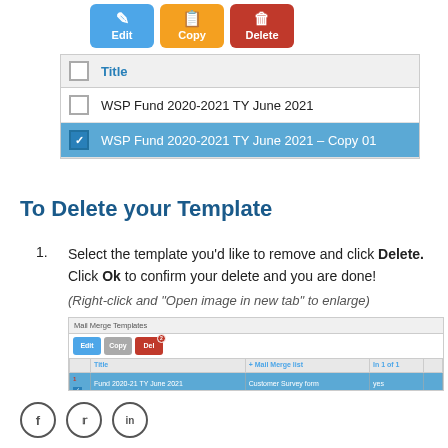[Figure (screenshot): Screenshot showing Edit (blue), Copy (orange), Delete (red) buttons above a table with checkboxes and two rows: 'WSP Fund 2020-2021 TY June 2021' (unchecked) and 'WSP Fund 2020-2021 TY June 2021 – Copy 01' (checked, highlighted in blue)]
To Delete your Template
Select the template you'd like to remove and click Delete. Click Ok to confirm your delete and you are done!
(Right-click and "Open image in new tab" to enlarge)
[Figure (screenshot): Small screenshot of Mail Merge Templates interface showing Edit, Copy, Delete buttons and a table with a highlighted row for 'Fund 2020-21 TY June 2021']
[Figure (other): Social media icons: Facebook, Twitter, LinkedIn]